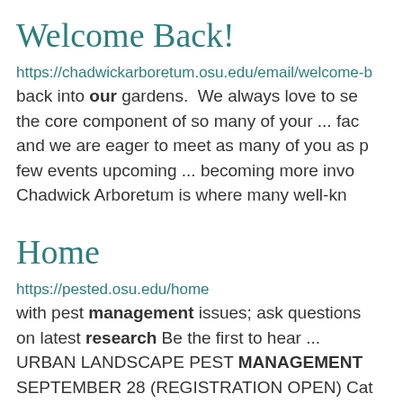Welcome Back!
https://chadwickarboretum.osu.edu/email/welcome-b back into our gardens.  We always love to se the core component of so many of your ... fac and we are eager to meet as many of you as p few events upcoming ... becoming more invo Chadwick Arboretum is where many well-kn
Home
https://pested.osu.edu/home
with pest management issues; ask questions on latest research Be the first to hear ... URBAN LANDSCAPE PEST MANAGEMENT SEPTEMBER 28 (REGISTRATION OPEN) Cat